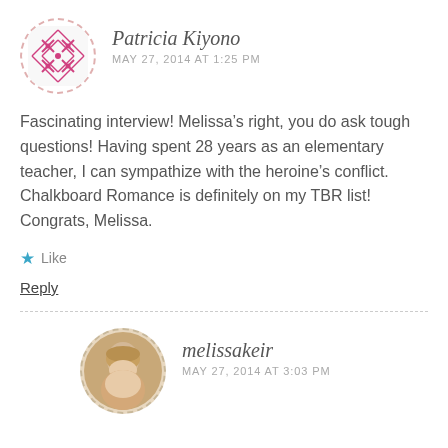[Figure (illustration): Avatar icon for Patricia Kiyono: circular dashed border with pink/magenta cross-stitch pattern graphic inside]
Patricia Kiyono
MAY 27, 2014 AT 1:25 PM
Fascinating interview! Melissa’s right, you do ask tough questions! Having spent 28 years as an elementary teacher, I can sympathize with the heroine’s conflict. Chalkboard Romance is definitely on my TBR list! Congrats, Melissa.
Like
Reply
[Figure (photo): Avatar photo of melissakeir: circular dashed border with photo of a blonde woman]
melissakeir
MAY 27, 2014 AT 3:03 PM